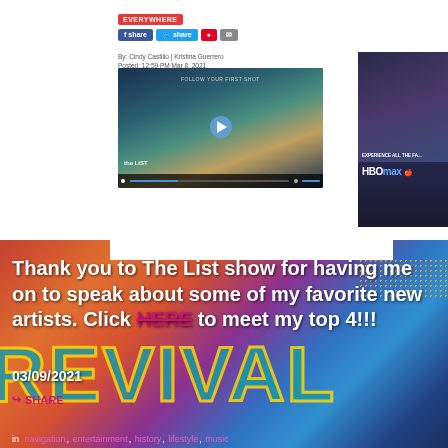[Figure (screenshot): Screenshot of a webpage showing share/social buttons and byline text: By: Cindy Castillo | Kristina Guerrero, Posted: 12:59 PM Mar 8, 2021]
[Figure (screenshot): Embedded video player thumbnail showing a record player/turntable with a blue play button, The List logo watermark, and video controls at bottom]
[Figure (screenshot): HBO Max advertisement on right side showing TV show images and HBO Max logo]
[Figure (photo): Colorful festival/concert background with a person in ornate costume, REVIVAL text at the bottom in teal letters with gold outline]
Thank you to The List show for having me on to speak about some of my favorite new artists. Click HERE to meet my top 4!!!
03/09/2021
SHARE
in navigation, entertainment, history, lifestyle, music